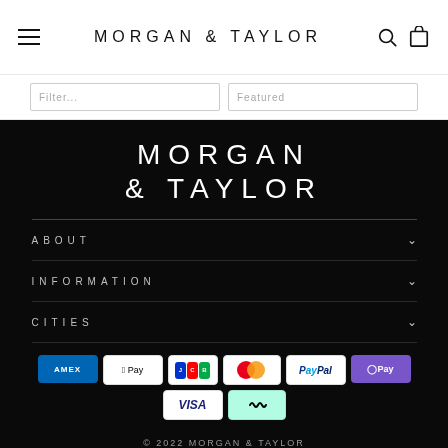MORGAN & TAYLOR
[Figure (screenshot): Two truncated search/filter input boxes partially visible]
[Figure (logo): Morgan & Taylor logo in white text on black background, two lines: MORGAN / & TAYLOR]
ABOUT
INFORMATION
CITIES
[Figure (other): Payment method icons: AMEX, Apple Pay, JCB, Mastercard, PayPal, OPay, VISA, Afterpay]
© 2022 MORGAN & TAYLOR